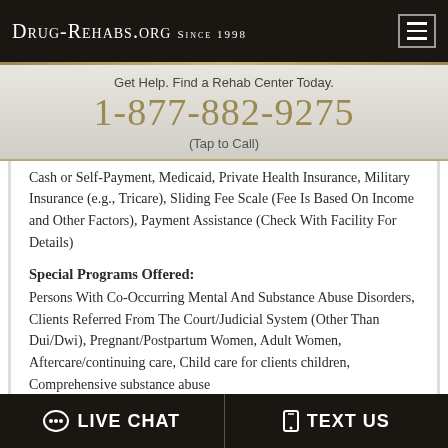Drug-Rehabs.org Since 1998
Get Help. Find a Rehab Center Today.
1-877-882-9275
(Tap to Call)
Cash or Self-Payment, Medicaid, Private Health Insurance, Military Insurance (e.g., Tricare), Sliding Fee Scale (Fee Is Based On Income and Other Factors), Payment Assistance (Check With Facility For Details)
Special Programs Offered:
Persons With Co-Occurring Mental And Substance Abuse Disorders, Clients Referred From The Court/Judicial System (Other Than Dui/Dwi), Pregnant/Postpartum Women, Adult Women, Aftercare/continuing care, Child care for clients children, Comprehensive substance abuse
LIVE CHAT   TEXT US